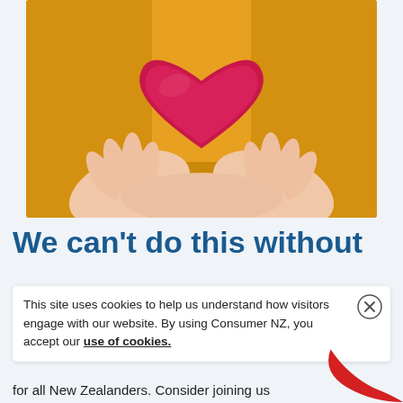[Figure (photo): Hands holding a bright pink/red felt heart shape, person wearing a yellow sweater, warm background]
We can't do this without
This site uses cookies to help us understand how visitors engage with our website. By using Consumer NZ, you accept our use of cookies.
for all New Zealanders. Consider joining us